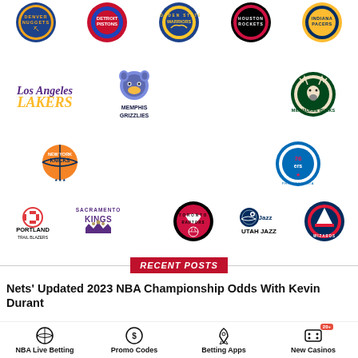[Figure (illustration): NBA team logos grid showing Denver Nuggets, Detroit Pistons, Golden State Warriors, Houston Rockets, Indiana Pacers, Los Angeles Lakers, Memphis Grizzlies, Milwaukee Bucks, New York Knicks, Philadelphia 76ers, Portland Trail Blazers, Sacramento Kings, Toronto Raptors, Utah Jazz, Washington Wizards]
RECENT POSTS
Nets' Updated 2023 NBA Championship Odds With Kevin Durant
NBA Live Betting | Promo Codes | Betting Apps | New Casinos 20+